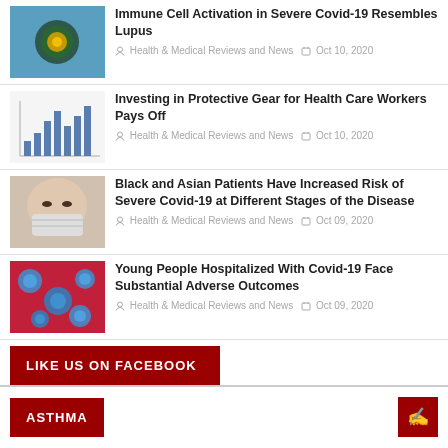Immune Cell Activation in Severe Covid-19 Resembles Lupus — Health & Medical Reviews and News, Oct 10, 2020
Investing in Protective Gear for Health Care Workers Pays Off — Health & Medical Reviews and News, Oct 10, 2020
Black and Asian Patients Have Increased Risk of Severe Covid-19 at Different Stages of the Disease — Health & Medical Reviews and News, Oct 09, 2020
Young People Hospitalized With Covid-19 Face Substantial Adverse Outcomes — Health & Medical Reviews and News, Oct 09, 2020
LIKE US ON FACEBOOK
ASTHMA